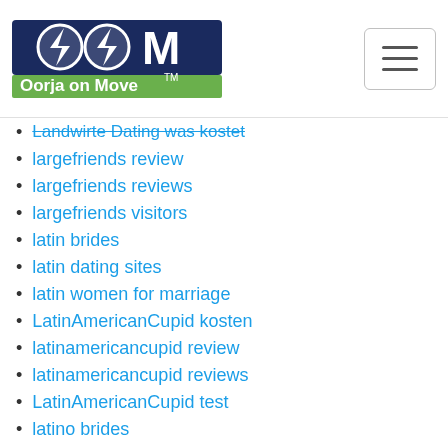Oorja on Move
Landwirte Dating was kostet
largefriends review
largefriends reviews
largefriends visitors
latin brides
latin dating sites
latin women for marriage
LatinAmericanCupid kosten
latinamericancupid review
latinamericancupid reviews
LatinAmericanCupid test
latino brides
latinomeetup reviews
latinomeetup sito di incontri
lavalife connexion
lavalife reviews